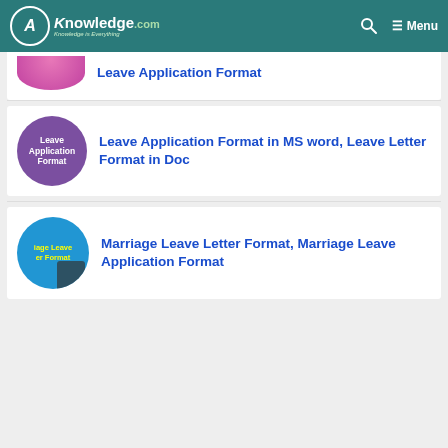AKnowledge.com — Knowledge is Everything — Menu
Leave Application Format
Leave Application Format in MS word, Leave Letter Format in Doc
Marriage Leave Letter Format, Marriage Leave Application Format